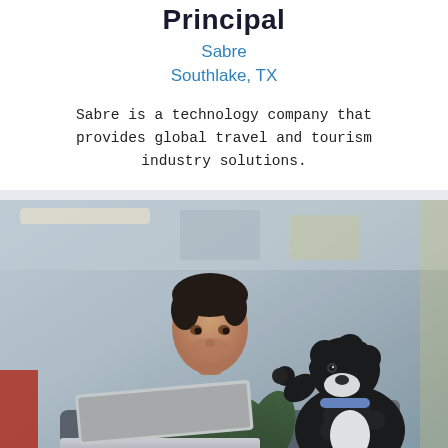Principal
Sabre
Southlake, TX
Sabre is a technology company that provides global travel and tourism industry solutions.
[Figure (photo): A man wearing a dark green sweater sits looking at a black and white dog that is reaching up towards him, with an open laptop in the foreground and a blurred office background.]